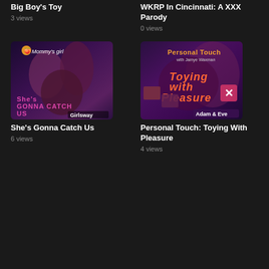Big Boy's Toy
3 views
WKRP In Cincinnati: A XXX Parody
0 views
[Figure (photo): Movie cover for She's Gonna Catch Us, Girlsway label]
She's Gonna Catch Us
6 views
[Figure (photo): Movie cover for Personal Touch: Toying With Pleasure, Adam & Eve label]
Personal Touch: Toying With Pleasure
4 views